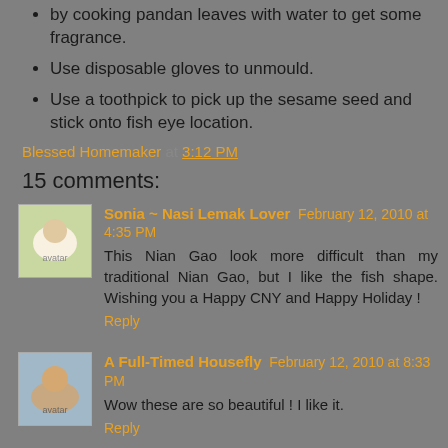by cooking pandan leaves with water to get some fragrance.
Use disposable gloves to unmould.
Use a toothpick to pick up the sesame seed and stick onto fish eye location.
Blessed Homemaker at 3:12 PM
15 comments:
Sonia ~ Nasi Lemak Lover February 12, 2010 at 4:35 PM
This Nian Gao look more difficult than my traditional Nian Gao, but I like the fish shape. Wishing you a Happy CNY and Happy Holiday !
Reply
A Full-Timed Housefly February 12, 2010 at 8:33 PM
Wow these are so beautiful ! I like it.
Reply